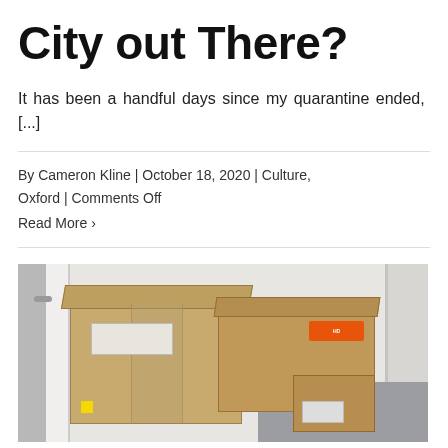City out There?
It has been a handful days since my quarantine ended, [...]
By Cameron Kline | October 18, 2020 | Culture, Oxford | Comments Off
Read More >
[Figure (photo): Two cardboard boxes (one large, one medium with a Home Depot label) sitting in a hallway or doorway area with gray carpet and white walls.]